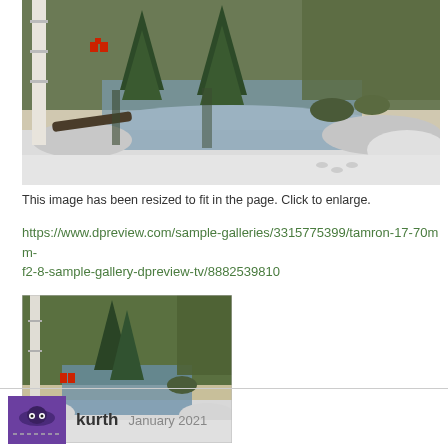[Figure (photo): Winter scene showing a creek or pond with snow on the ground, evergreen trees, birch trees, and red chairs visible in the background. The water reflects the surrounding trees and sky.]
This image has been resized to fit in the page. Click to enlarge.
https://www.dpreview.com/sample-galleries/3315775399/tamron-17-70mm-f2-8-sample-gallery-dpreview-tv/8882539810
[Figure (photo): Smaller thumbnail of the same winter scene with creek, snow, evergreen trees, birch trees, and a red element in the middle distance.]
kurth   January 2021